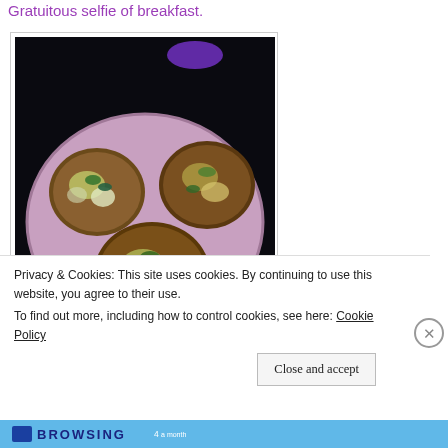Gratuitous selfie of breakfast.
[Figure (photo): Photo of three egg muffin cups on a pink/mauve plate, photographed in dim lighting. The muffins appear to contain vegetables (spinach, peppers) and cheese.]
Privacy & Cookies: This site uses cookies. By continuing to use this website, you agree to their use.
To find out more, including how to control cookies, see here: Cookie Policy
Close and accept